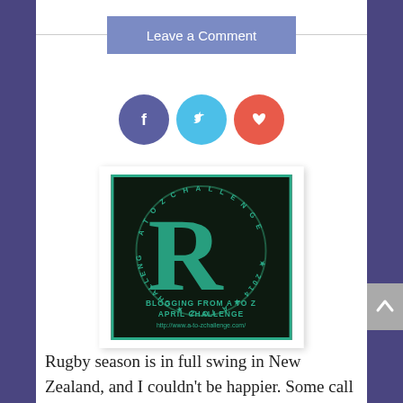Leave a Comment
[Figure (infographic): Social share buttons: Facebook (purple circle with f), Twitter (blue circle with bird), Heart/like (red circle with heart)]
[Figure (illustration): A-to-Z April Challenge badge: dark background with large teal R letter, circular text reading CHALLENGE and A TO Z, text BLOGGING FROM A TO Z APRIL CHALLENGE http://www.a-to-zchallenge.com/]
Rugby season is in full swing in New Zealand, and I couldn't be happier. Some call it our